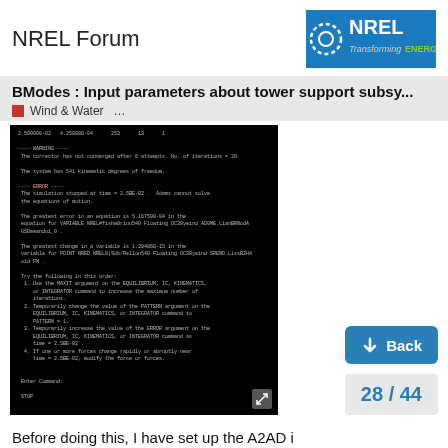NREL Forum
BModes : Input parameters about tower support subsy...
Wind & Water  ...
[Figure (screenshot): Terminal/console output showing simulation error messages and numbered suggestions for resolving convergence failure, ending with 'STOP' and CPU time used = 17.989 seconds.]
Before doing this, I have set up the A2AD i